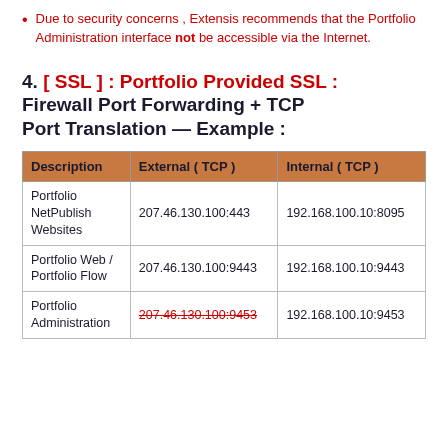Due to security concerns , Extensis recommends that the Portfolio Administration interface not be accessible via the Internet.
4. [ SSL ] : Portfolio Provided SSL : Firewall Port Forwarding + TCP Port Translation — Example :
| Description | External ( TCP ) | Internal ( TCP ) |
| --- | --- | --- |
| Portfolio
NetPublish
Websites | 207.46.130.100:443 | 192.168.100.10:8095 |
| Portfolio Web /
Portfolio Flow | 207.46.130.100:9443 | 192.168.100.10:9443 |
| Portfolio
Administration | 207.46.130.100:9453 | 192.168.100.10:9453 |